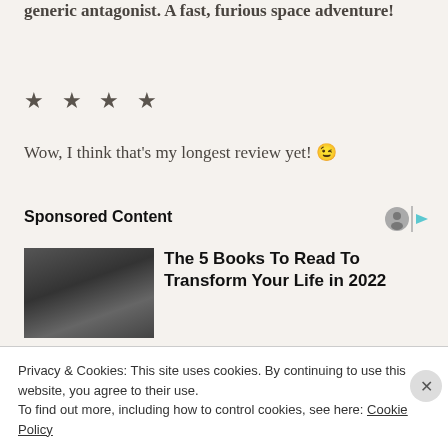generic antagonist. A fast, furious space adventure!
★ ★ ★ ★
Wow, I think that's my longest review yet! 😉
Sponsored Content
[Figure (photo): Black and white photo of a person wearing glasses]
The 5 Books To Read To Transform Your Life in 2022
Privacy & Cookies: This site uses cookies. By continuing to use this website, you agree to their use.
To find out more, including how to control cookies, see here: Cookie Policy
Close and accept